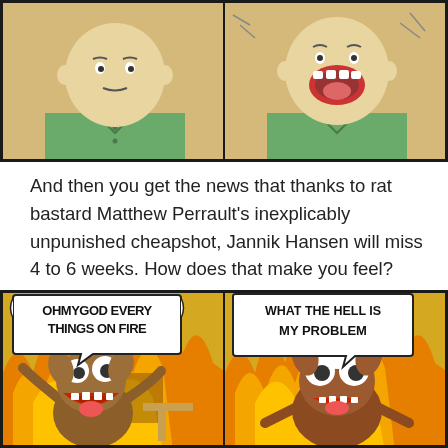[Figure (illustration): Top two comic panels from 'This Is Fine' meme: left panel shows a calm cartoon character facing forward, right panel shows the same character with mouth open wide laughing/reacting]
And then you get the news that thanks to rat bastard Matthew Perrault's inexplicably unpunished cheapshot, Jannik Hansen will miss 4 to 6 weeks. How does that make you feel?
[Figure (illustration): Bottom two comic panels from 'This Is Fine' meme variant: left panel shows a panicking dog-like creature in flames with speech bubble 'OH MY GOD EVERY THINGS ON FIRE', right panel shows another creature calmly sitting in flames with speech bubble 'WHAT THE HELL IS MY PROBLEM']